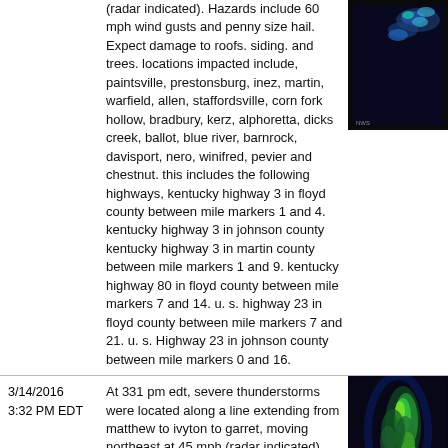| Date/Time | Description | Radar Image |
| --- | --- | --- |
| (continuation) | (radar indicated). Hazards include 60 mph wind gusts and penny size hail. Expect damage to roofs. siding. and trees. locations impacted include, paintsville, prestonsburg, inez, martin, warfield, allen, staffordsville, corn fork hollow, bradbury, kerz, alphoretta, dicks creek, ballot, blue river, barnrock, davisport, nero, winifred, pevier and chestnut. this includes the following highways, kentucky highway 3 in floyd county between mile markers 1 and 4. kentucky highway 3 in johnson county kentucky highway 3 in martin county between mile markers 1 and 9. kentucky highway 80 in floyd county between mile markers 7 and 14. u. s. highway 23 in floyd county between mile markers 7 and 21. u. s. Highway 23 in johnson county between mile markers 0 and 16. | radar image |
| 3/14/2016
3:32 PM EDT | At 331 pm edt, severe thunderstorms were located along a line extending from matthew to ivyton to garret, moving northeast at 45 mph (radar indicated). Hazards include 60 mph wind gusts and penny size hail. Expect damage to roofs. siding. And trees. | radar image |
| 7/14/2015
6:47 PM EDT | At 645 pm edt, severe thunderstorms were located along a line extending | radar image |